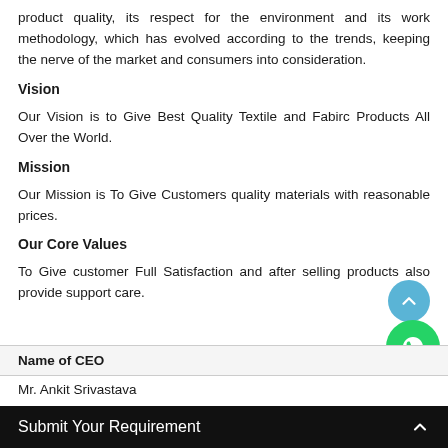product quality, its respect for the environment and its work methodology, which has evolved according to the trends, keeping the nerve of the market and consumers into consideration.
Vision
Our Vision is to Give Best Quality Textile and Fabirc Products All Over the World.
Mission
Our Mission is To Give Customers quality materials with reasonable prices.
Our Core Values
To Give customer Full Satisfaction and after selling products also provide support care.
| Name of CEO |
| --- |
| Mr. Ankit Srivastava |
Submit Your Requirement